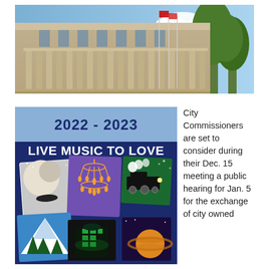[Figure (photo): Exterior photo of a government building with large stone columns and flagpoles, with trees in background and blue sky]
[Figure (illustration): 2022-2023 Live Music to Love promotional poster with dark blue background and illustrated concert/show cards including moon, chandelier, steam train, mountain, sci-fi building, and planet imagery]
City Commissioners are set to consider during their Dec. 15 meeting a public hearing for Jan. 5 for the exchange of city owned